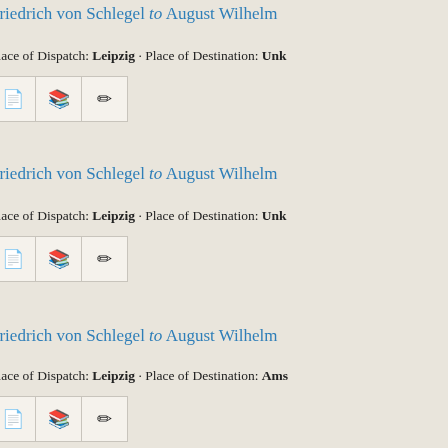Friedrich von Schlegel to August Wilhelm
Place of Dispatch: Leipzig · Place of Destination: Unk
Friedrich von Schlegel to August Wilhelm
Place of Dispatch: Leipzig · Place of Destination: Unk
Friedrich von Schlegel to August Wilhelm
Place of Dispatch: Leipzig · Place of Destination: Ams